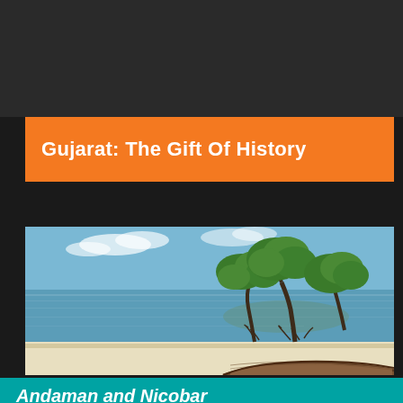Gujarat: The Gift Of History
[Figure (photo): A coastal beach scene with a wooden boat on white sand, calm blue water, and mangrove trees growing in the shallow water in the background under a blue sky with light clouds.]
Andaman and Nicobar